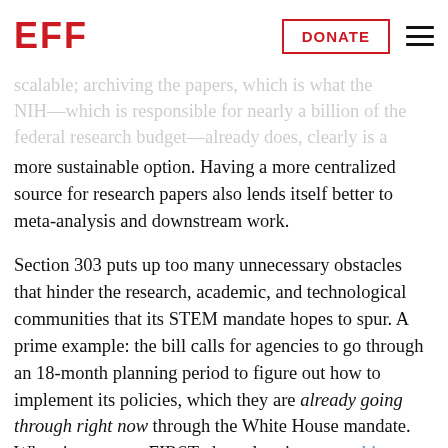EFF | DONATE
scalable; archiving the papers, which is what the NIH—which is responsible for nearly a billion of the federal research budget—already does, clearly is a more sustainable option. Having a more centralized source for research papers also lends itself better to meta-analysis and downstream work.
Section 303 puts up too many unnecessary obstacles that hinder the research, academic, and technological communities that its STEM mandate hopes to spur. A prime example: the bill calls for agencies to go through an 18-month planning period to figure out how to implement its policies, which they are already going through right now through the White House mandate. When it comes to FIRST, the only winners are big publishers, who have clearly hijacked the bill's language to serve their own needs.